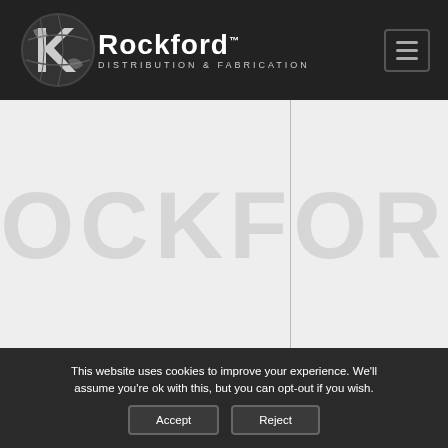[Figure (logo): Rockford Distribution & Fabrication logo with globe icon on dark header background]
[Figure (screenshot): Main content area with light gray background, vertical divider, and faint large watermark-style background text]
This website uses cookies to improve your experience. We'll assume you're ok with this, but you can opt-out if you wish.
Accept  Reject